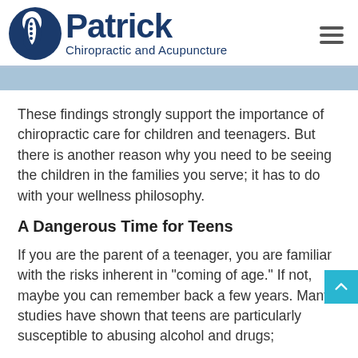Patrick Chiropractic and Acupuncture
These findings strongly support the importance of chiropractic care for children and teenagers. But there is another reason why you need to be seeing the children in the families you serve; it has to do with your wellness philosophy.
A Dangerous Time for Teens
If you are the parent of a teenager, you are familiar with the risks inherent in "coming of age." If not, maybe you can remember back a few years. Many studies have shown that teens are particularly susceptible to abusing alcohol and drugs;